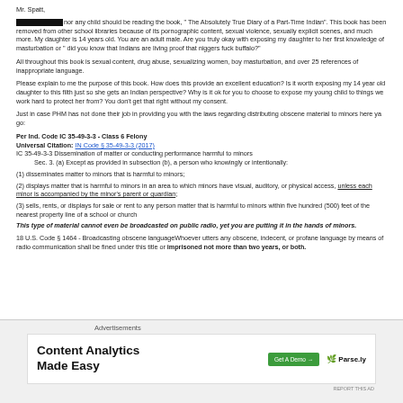Mr. Spatt,
[REDACTED] nor any child should be reading the book, " The Absolutely True Diary of a Part-Time Indian". This book has been removed from other school libraries because of its pornographic content, sexual violence, sexually explicit scenes, and much more. My daughter is 14 years old. You are an adult male. Are you truly okay with exposing my daughter to her first knowledge of masturbation or " did you know that Indians are living proof that niggers fuck buffalo?"
All throughout this book is sexual content, drug abuse, sexualizing women, boy masturbation, and over 25 references of inappropriate language.
Please explain to me the purpose of this book. How does this provide an excellent education? Is it worth exposing my 14 year old daughter to this filth just so she gets an Indian perspective? Why is it ok for you to choose to expose my young child to things we work hard to protect her from? You don't get that right without my consent.
Just in case PHM has not done their job in providing you with the laws regarding distributing obscene material to minors here ya go:
Per Ind. Code IC 35-49-3-3 - Class 6 Felony
Universal Citation: IN Code § 35-49-3-3 (2017)
IC 35-49-3-3 Dissemination of matter or conducting performance harmful to minors
    Sec. 3. (a) Except as provided in subsection (b), a person who knowingly or intentionally:
(1) disseminates matter to minors that is harmful to minors;
(2) displays matter that is harmful to minors in an area to which minors have visual, auditory, or physical access, unless each minor is accompanied by the minor's parent or guardian;
(3) sells, rents, or displays for sale or rent to any person matter that is harmful to minors within five hundred (500) feet of the nearest property line of a school or church
This type of material cannot even be broadcasted on public radio, yet you are putting it in the hands of minors.
18 U.S. Code § 1464 - Broadcasting obscene languageWhoever utters any obscene, indecent, or profane language by means of radio communication shall be fined under this title or imprisoned not more than two years, or both.
Advertisements
[Figure (screenshot): Advertisement banner for Parse.ly Content Analytics Made Easy with Get A Demo button]